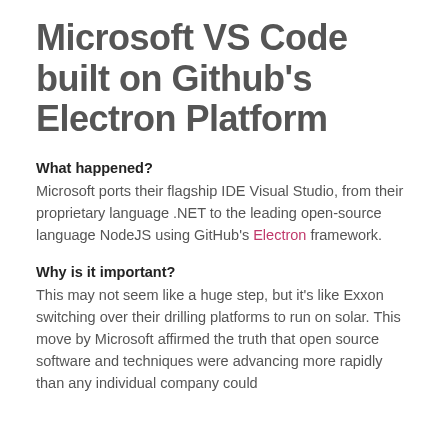Microsoft VS Code built on Github's Electron Platform
What happened?
Microsoft ports their flagship IDE Visual Studio, from their proprietary language .NET to the leading open-source language NodeJS using GitHub's Electron framework.
Why is it important?
This may not seem like a huge step, but it's like Exxon switching over their drilling platforms to run on solar. This move by Microsoft affirmed the truth that open source software and techniques were advancing more rapidly than any individual company could